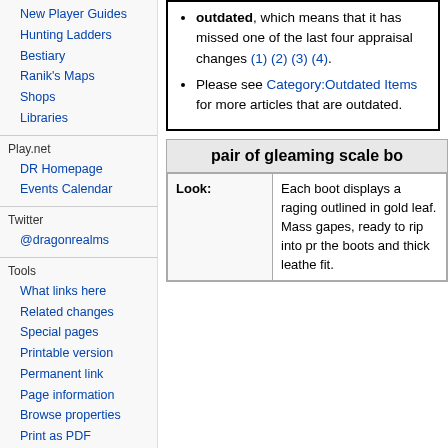New Player Guides
Hunting Ladders
Bestiary
Ranik's Maps
Shops
Libraries
Play.net
DR Homepage
Events Calendar
Twitter
@dragonrealms
Tools
What links here
Related changes
Special pages
Printable version
Permanent link
Page information
Browse properties
Print as PDF
outdated, which means that it has missed one of the last four appraisal changes (1) (2) (3) (4). Please see Category:Outdated Items for more articles that are outdated.
pair of gleaming scale bo
| Look: |
| --- |
| Each boot displays a raging... outlined in gold leaf. Mass... gapes, ready to rip into pr... the boots and thick leathe... fit. |